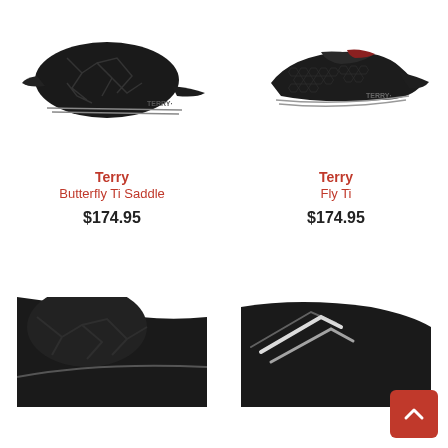[Figure (photo): Terry Butterfly Ti Saddle - black bicycle saddle with cracked/mosaic texture pattern, side view]
Terry
Butterfly Ti Saddle
$174.95
[Figure (photo): Terry Fly Ti - black bicycle saddle with hexagonal/honeycomb texture, side view]
Terry
Fly Ti
$174.95
[Figure (photo): Bicycle saddle bottom-left, partially visible, black with graphic pattern]
[Figure (photo): Bicycle saddle bottom-right, partially visible, black with white stripe design]